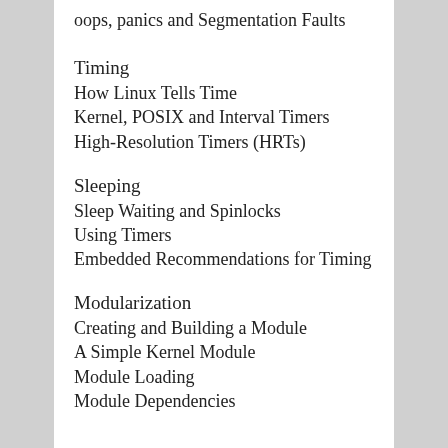oops, panics and Segmentation Faults
Timing
How Linux Tells Time
Kernel, POSIX and Interval Timers
High-Resolution Timers (HRTs)
Sleeping
Sleep Waiting and Spinlocks
Using Timers
Embedded Recommendations for Timing
Modularization
Creating and Building a Module
A Simple Kernel Module
Module Loading
Module Dependencies